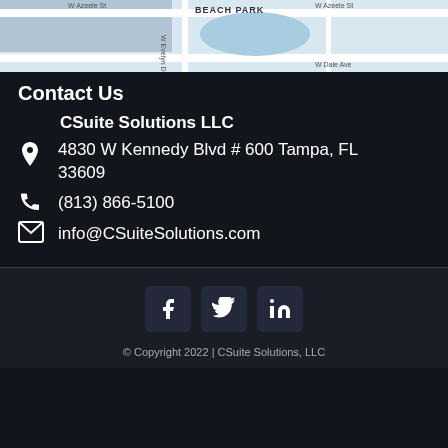[Figure (map): Google Maps screenshot showing Beach Park area near W Azeele St, W Evelyn Dr, W Dale Ave in Tampa, FL]
Contact Us
CSuite Solutions LLC
4830 W Kennedy Blvd # 600 Tampa, FL 33609
(813) 866-5100
info@CSuiteSolutions.com
[Figure (infographic): Social media icons: Facebook, Twitter, LinkedIn]
© Copyright 2022 | CSuite Solutions, LLC